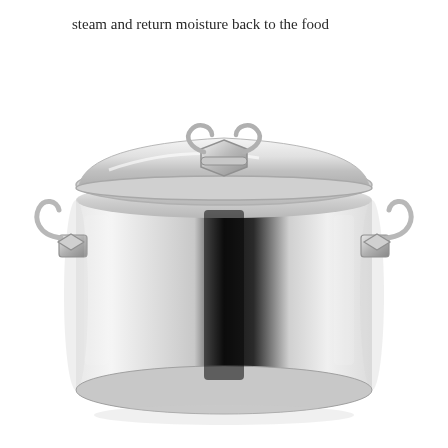steam and return moisture back to the food
[Figure (photo): A stainless steel stockpot with a domed lid featuring a loop handle on top and two side handles. The pot is polished to a mirror-like finish and photographed on a white background.]